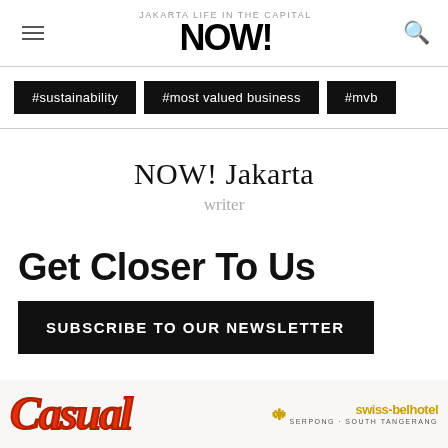NOW! Jakarta
#sustainability
#most valued business
#mvb
NOW! Jakarta
writer
Get Closer To Us
SUBSCRIBE TO OUR NEWSLETTER
[Figure (illustration): Casual event logo in red script and Swiss-belhotel Serpong South Tangerang advertisement banner]